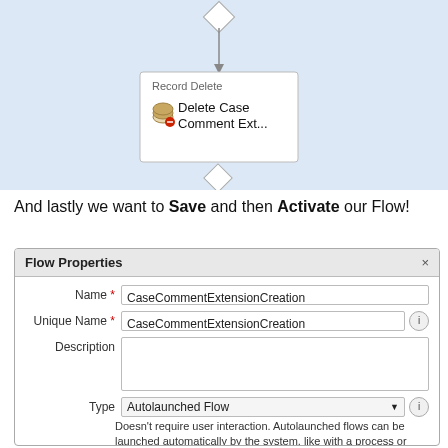[Figure (flowchart): Partial flowchart showing a 'Record Delete' node labeled 'Delete Case Comment Ext...' with a database icon, diamond connector at bottom, on a light blue background.]
And lastly we want to Save and then Activate our Flow!
[Figure (screenshot): Flow Properties dialog box showing fields: Name (CaseCommentExtensionCreation), Unique Name (CaseCommentExtensionCreation), Description (empty), Type (Autolaunched Flow) with description text, and Interview Label (CaseCommentExtensionCreation (!$Flow.CurrentDateTi...)).]